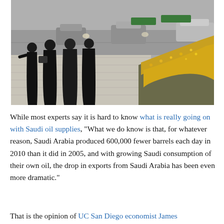[Figure (photo): Black and white street scene in Saudi Arabia showing four women in black abayas walking on a sidewalk, with traffic and parked cars in the background. On the right side of the image, there is a colorful strip of yellow/orange flowers along a curved garden border.]
While most experts say it is hard to know what is really going on with Saudi oil supplies, "What we do know is that, for whatever reason, Saudi Arabia produced 600,000 fewer barrels each day in 2010 than it did in 2005, and with growing Saudi consumption of their own oil, the drop in exports from Saudi Arabia has been even more dramatic."
That is the opinion of UC San Diego economist James